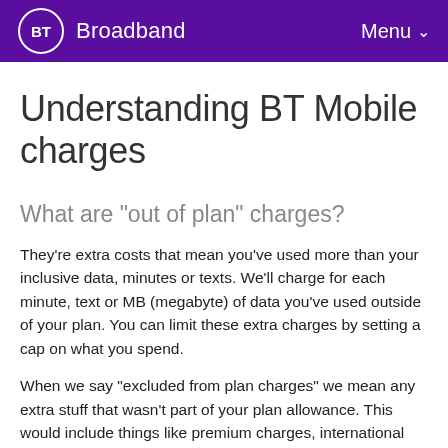BT Broadband | Menu
Understanding BT Mobile charges
What are "out of plan" charges?
They're extra costs that mean you've used more than your inclusive data, minutes or texts. We'll charge for each minute, text or MB (megabyte) of data you've used outside of your plan. You can limit these extra charges by setting a cap on what you spend.
When we say "excluded from plan charges" we mean any extra stuff that wasn't part of your plan allowance. This would include things like premium charges, international calling and texting, and using your phone abroad. These charges are usually more